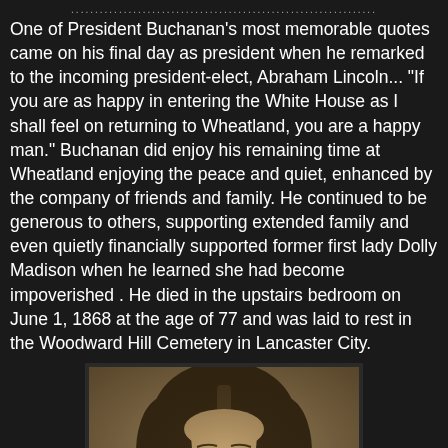................................................................
One of President Buchanan's most memorable quotes came on his final day as president when he remarked to the incoming president-elect, Abraham Lincoln... "If you are as happy in entering the White House as I shall feel on returning to Wheatland, you are a happy man." Buchanan did enjoy his remaining time at Wheatland enjoying the peace and quiet, enhanced by the company of friends and family. He continued to be generous to others, supporting extended family and even quietly financially supported former first lady Dolly Madison when he learned she had become impoverished . He died in the upstairs bedroom on June 1, 1868 at the age of 77 and was laid to rest in the Woodward Hill Cemetery in Lancaster City.
[Figure (photo): Sepia-toned portrait photograph of a woman with dark hair parted in the middle, wearing Victorian-era clothing, from approximately the mid-19th century.]